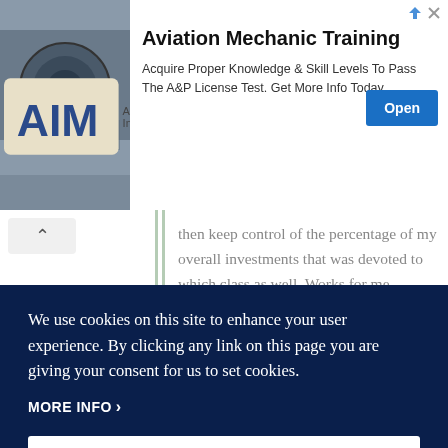[Figure (screenshot): Advertisement banner for Aviation Mechanic Training by AIM Institute showing airplane engine image, bold headline, descriptive text, and blue Open button]
then keep control of the percentage of my overall investments that was devoted to which class as well. Works for me ...
+ 0 — ↪ Reply
We use cookies on this site to enhance your user experience. By clicking any link on this page you are giving your consent for us to set cookies.
MORE INFO ›
OK, I AGREE